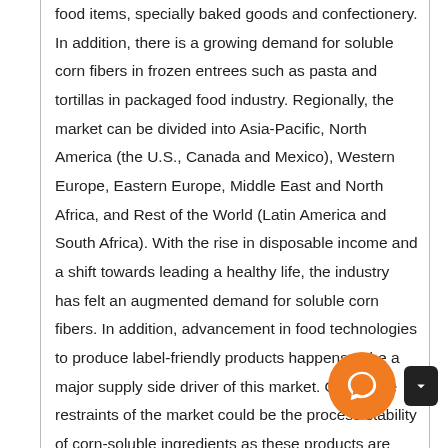food items, specially baked goods and confectionery. In addition, there is a growing demand for soluble corn fibers in frozen entrees such as pasta and tortillas in packaged food industry. Regionally, the market can be divided into Asia-Pacific, North America (the U.S., Canada and Mexico), Western Europe, Eastern Europe, Middle East and North Africa, and Rest of the World (Latin America and South Africa). With the rise in disposable income and a shift towards leading a healthy life, the industry has felt an augmented demand for soluble corn fibers. In addition, advancement in food technologies to produce label-friendly products happens to be a major supply side driver of this market. One of the restraints of the market could be the process stability of corn-soluble ingredients as these products are highly application specific. Paper Shopping Bags, Cups, Glass & Envelopes There are bigger reasons why the use of paper bag is advantageous. Aside from reusable, they are recyclable, biodegradable, environment friendly, inexpensive and practical to use. Paper bags are made from wood. Like